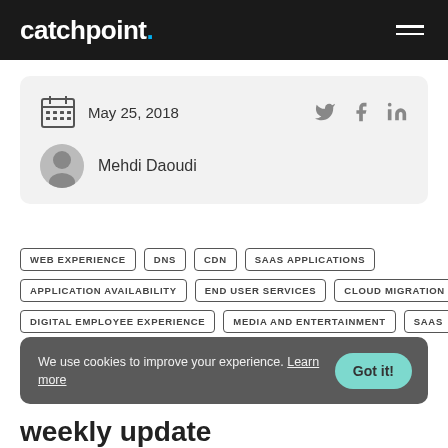catchpoint.
May 25, 2018
Mehdi Daoudi
WEB EXPERIENCE
DNS
CDN
SAAS APPLICATIONS
APPLICATION AVAILABILITY
END USER SERVICES
CLOUD MIGRATION
DIGITAL EMPLOYEE EXPERIENCE
MEDIA AND ENTERTAINMENT
SAAS
We use cookies to improve your experience. Learn more
Got it!
weekly update